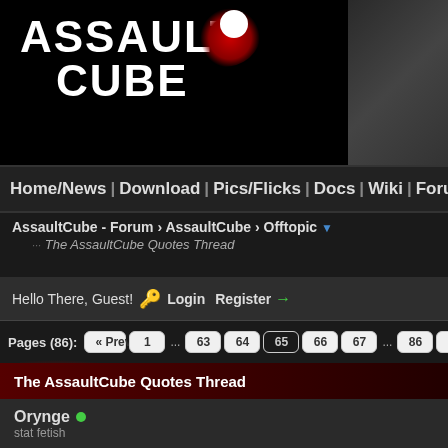[Figure (screenshot): AssaultCube game logo with blood splat graphic on black background with game scene on right]
Home/News | Download | Pics/Flicks | Docs | Wiki | Forum | IRC | D
Hello There, Guest! 🔑 Login  Register →
AssaultCube - Forum › AssaultCube › Offtopic ▼
The AssaultCube Quotes Thread
Pages (86): « Previous  1  ...  63  64  65  66  67  ...  86  Next »  ▼
The AssaultCube Quotes Thread
Orynge • stat fetish
16 Apr 13, 02:12PM
^: Classic.
Find